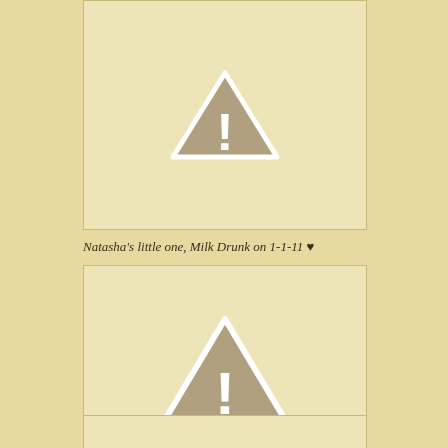[Figure (other): Placeholder image with warning/exclamation triangle icon - top partial image box]
Natasha's little one, Milk Drunk on 1-1-11 ♥
[Figure (other): Placeholder image with warning/exclamation triangle icon - middle image box]
Jessie's daughter, who will turn 2 on Jan 8th, nursed in the New Year in Maryland. ♥
[Figure (other): Placeholder image with warning/exclamation triangle icon - bottom partial image box]